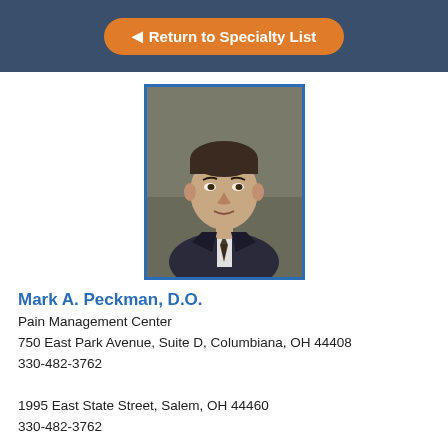Return to Specialty List
[Figure (photo): Headshot photo of Mark A. Peckman, D.O. — middle-aged man in a suit and tie with dark hair, against a grey background]
Mark A. Peckman, D.O.
Pain Management Center
750 East Park Avenue, Suite D, Columbiana, OH 44408
330-482-3762

1995 East State Street, Salem, OH 44460
330-482-3762
PALLIATIVE CARE